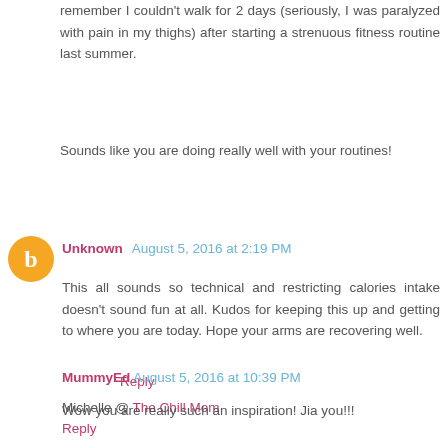remember I couldn't walk for 2 days (seriously, I was paralyzed with pain in my thighs) after starting a strenuous fitness routine last summer.
Sounds like you are doing really well with your routines!
Reply
Unknown  August 5, 2016 at 2:19 PM
This all sounds so technical and restricting calories intake doesn't sound fun at all. Kudos for keeping this up and getting to where you are today. Hope your arms are recovering well.
Michelle @ The Chill Mom
Reply
MummyEd  August 5, 2016 at 10:39 PM
Wow you are really such an inspiration! Jia you!!!